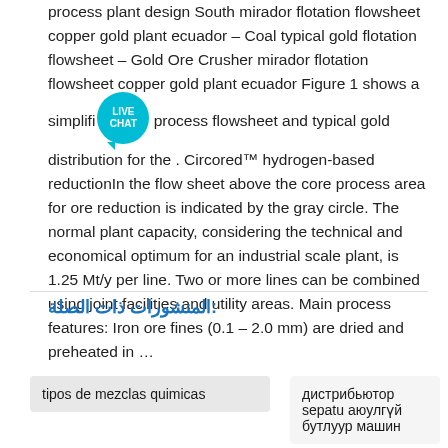process plant design South mirador flotation flowsheet copper gold plant ecuador – Coal typical gold flotation flowsheet – Gold Ore Crusher mirador flotation flowsheet copper gold plant ecuador Figure 1 shows a simplified process flowsheet and typical gold distribution for the . Circored™ hydrogen-based reductionIn the flow sheet above the core process area for ore reduction is indicated by the gray circle. The normal plant capacity, considering the technical and economical optimum for an industrial scale plant, is 1.25 Mt/y per line. Two or more lines can be combined using joint facilities and utility areas. Main process features: Iron ore fines (0.1 – 2.0 mm) are dried and preheated in …
:المنشورات ذات الصلة
tipos de mezclas quimicas
дистрибьютор sepatu аюулгүй бутлуур машин